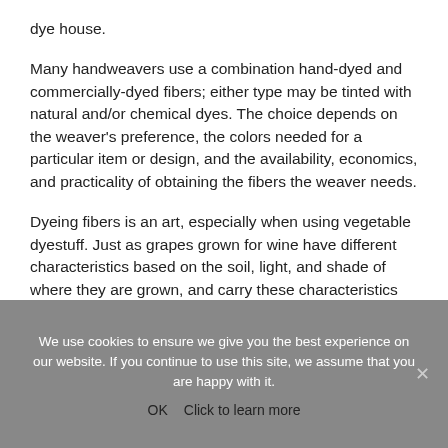dye house.
Many handweavers use a combination hand-dyed and commercially-dyed fibers; either type may be tinted with natural and/or chemical dyes. The choice depends on the weaver's preference, the colors needed for a particular item or design, and the availability, economics, and practicality of obtaining the fibers the weaver needs.
Dyeing fibers is an art, especially when using vegetable dyestuff. Just as grapes grown for wine have different characteristics based on the soil, light, and shade of where they are grown, and carry these characteristics
We use cookies to ensure we give you the best experience on our website. If you continue to use this site, we assume that you are happy with it.
OK   Click to learn more